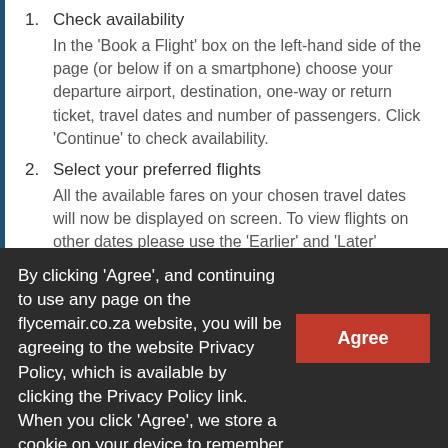1. Check availability
In the 'Book a Flight' box on the left-hand side of the page (or below if on a smartphone) choose your departure airport, destination, one-way or return ticket, travel dates and number of passengers. Click 'Continue' to check availability.
2. Select your preferred flights
All the available fares on your chosen travel dates will now be displayed on screen. To view flights on other dates please use the 'Earlier' and 'Later' buttons
By clicking 'Agree', and continuing to use any page on the flycemair.co.za website, you will be agreeing to the website Privacy Policy, which is available by clicking the Privacy Policy link. When you click 'Agree', we store a cookie on your device to remember your choice. We may store additional cookies from time to time, to enhance your experience of the website. Link to Privacy Policy